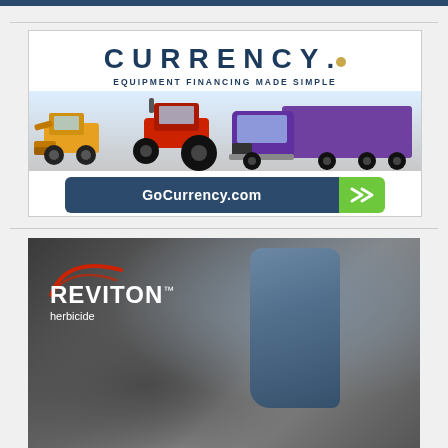[Figure (illustration): Currency equipment financing advertisement. White background with 'CURRENCY.' logo in dark navy large letters with a gold dot, subtitle 'EQUIPMENT FINANCING MADE SIMPLE', images of a yellow skid steer, red tractor, and purple semi truck, and a button reading 'GoCurrency.com' with green arrow.]
[Figure (illustration): Reviton herbicide advertisement. Dark background with stone/rock texture imagery, red arc logo, white text 'REVITON™ herbicide'.]